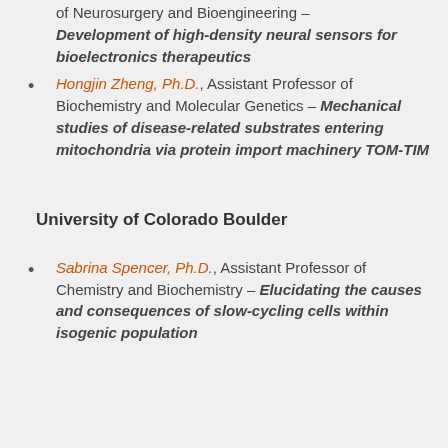of Neurosurgery and Bioengineering – Development of high-density neural sensors for bioelectronics therapeutics
Hongjin Zheng, Ph.D., Assistant Professor of Biochemistry and Molecular Genetics – Mechanical studies of disease-related substrates entering mitochondria via protein import machinery TOM-TIM
University of Colorado Boulder
Sabrina Spencer, Ph.D., Assistant Professor of Chemistry and Biochemistry – Elucidating the causes and consequences of slow-cycling cells within isogenic population